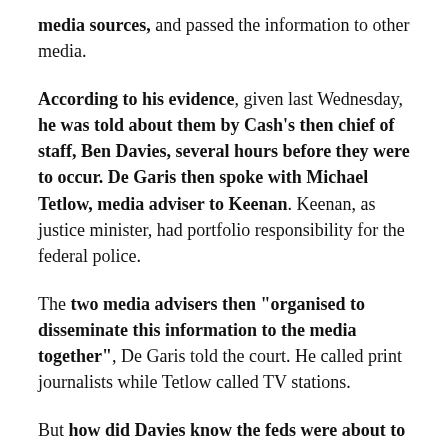media sources, and passed the information to other media.
According to his evidence, given last Wednesday, he was told about them by Cash’s then chief of staff, Ben Davies, several hours before they were to occur. De Garis then spoke with Michael Tetlow, media adviser to Keenan. Keenan, as justice minister, had portfolio responsibility for the federal police.
The two media advisers then “organised to disseminate this information to the media together”, De Garis told the court. He called print journalists while Tetlow called TV stations.
But how did Davies know the feds were about to raid